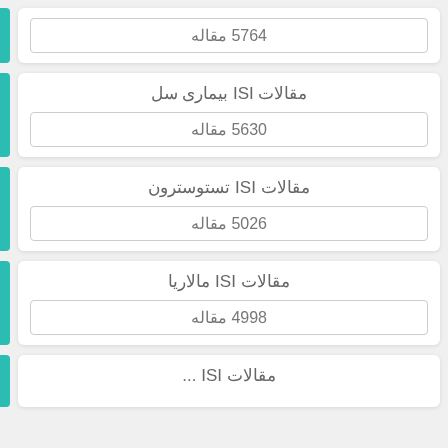5764 مقاله
مقالات ISI بیماری سل
5630 مقاله
مقالات ISI تستوسترون
5026 مقاله
مقالات ISI مالاریا
4998 مقاله
مقالات ISI ...